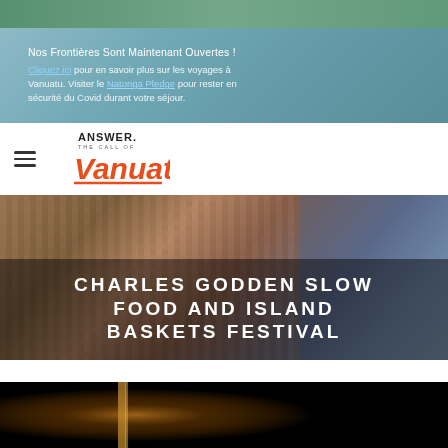[Figure (photo): Top landscape/nature image banner - teal green tones]
Nos Frontières Sont Maintenant Ouvertes ! Cliquez ici pour en savoir plus sur les voyages à Vanuatu. Visiter le Natonga Pledge pour rester en sécurité du Covid durant votre séjour.
[Figure (logo): Answer the Call of Vanuatu logo - black and orange/red text with italic Vanuatu in orange]
[Figure (photo): Woven baskets and textiles in earth tones with blue fabric background - festival hero image]
CHARLES GODDEN SLOW FOOD AND ISLAND BASKETS FESTIVAL
[Figure (photo): Dark background photo with candlelight or torch, bottom of page]